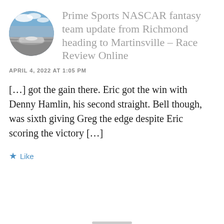[Figure (photo): Circular avatar image showing a racing car at speed on a track, motion-blurred, with grandstands and crowd in background.]
Prime Sports NASCAR fantasy team update from Richmond heading to Martinsville – Race Review Online
APRIL 4, 2022 AT 1:05 PM
[…] got the gain there. Eric got the win with Denny Hamlin, his second straight. Bell though, was sixth giving Greg the edge despite Eric scoring the victory […]
Like